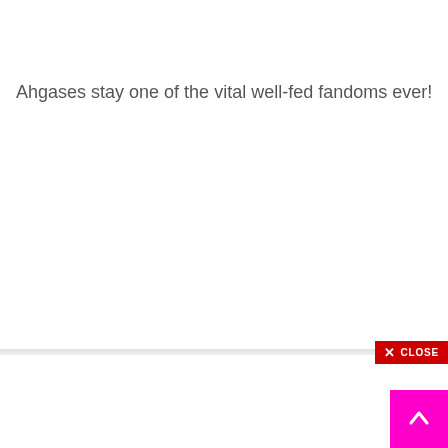Ahgases stay one of the vital well-fed fandoms ever!
[Figure (other): A red CLOSE button with an X icon in the bottom-right area, overlaid on a light gray horizontal divider bar]
[Figure (other): A magenta/pink scroll-to-top button with an upward chevron arrow in the bottom-right corner]